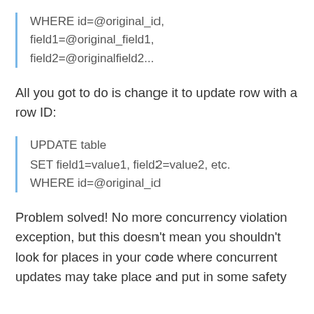WHERE id=@original_id,
field1=@original_field1,
field2=@originalfield2...
All you got to do is change it to update row with a row ID:
UPDATE table
SET field1=value1, field2=value2, etc.
WHERE id=@original_id
Problem solved! No more concurrency violation exception, but this doesn't mean you shouldn't look for places in your code where concurrent updates may take place and put in some safety